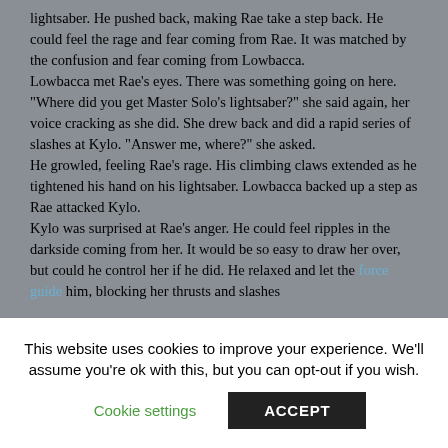lightsaber.   He pushed back, making Rae take a step back.   He could feel the rage and fear coming from Rae.  It was matched by the confusion and fear coming from Lowbacca.
Lowbacca met Rae's eyes.  There was something going on here.   "Where did you get Master Solo's lightsaber?" she said again, her voice cracking as she did.  She drew back and did a rapid series of slashes at Kylo.  "Answer me, where?" she asked.
He growled, feeling Rae's rage.  His climbing claws extended as he tightened his hand on his lightsaber.  Lowbacca backed up a step as Rae attacked Kylo.
Kylo was surprised at Rae's anger.  He could feel ripples in the darkside coming from her.   It would be so easy to draw her over, but could he control her if he did.  He relaxed and let the [force guide] him, blocking her thrusts and slashes…
This website uses cookies to improve your experience. We'll assume you're ok with this, but you can opt-out if you wish.
Cookie settings | ACCEPT